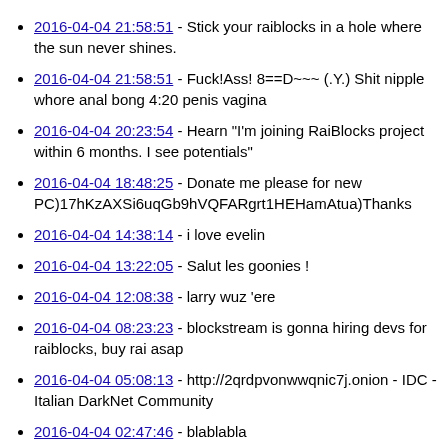2016-04-04 21:58:51 - Stick your raiblocks in a hole where the sun never shines.
2016-04-04 21:58:51 - Fuck!Ass! 8==D~~~ (.Y.) Shit nipple whore anal bong 4:20 penis vagina
2016-04-04 20:23:54 - Hearn "I'm joining RaiBlocks project within 6 months. I see potentials"
2016-04-04 18:48:25 - Donate me please for new PC)17hKzAXSi6uqGb9hVQFARgrt1HEHamAtua)Thanks
2016-04-04 14:38:14 - i love evelin
2016-04-04 13:22:05 - Salut les goonies !
2016-04-04 12:08:38 - larry wuz 'ere
2016-04-04 08:23:23 - blockstream is gonna hiring devs for raiblocks, buy rai asap
2016-04-04 05:08:13 - http://2qrdpvonwwqnic7j.onion - IDC - Italian DarkNet Community
2016-04-04 02:47:46 - blablabla